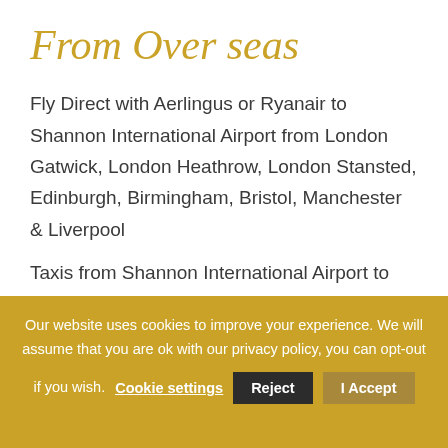From Over seas
Fly Direct with Aerlingus or Ryanair to Shannon International Airport from London Gatwick, London Heathrow, London Stansted, Edinburgh, Birmingham, Bristol, Manchester & Liverpool
Taxis from Shannon International Airport to the hotel cost approximately €30. The journey takes around 15
Our website uses cookies to improve your experience. We will assume that you are ok with our privacy policy, you can opt-out if you wish. Cookie settings  Reject  I Accept